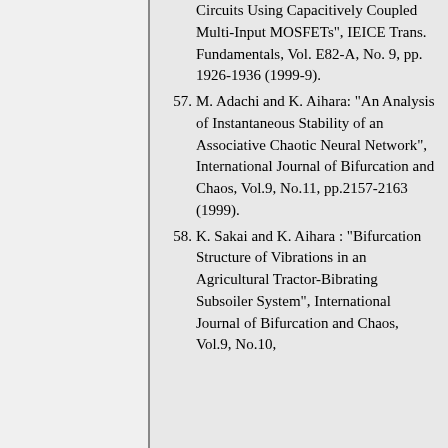Circuits Using Capacitively Coupled Multi-Input MOSFETs", IEICE Trans. Fundamentals, Vol. E82-A, No. 9, pp. 1926-1936 (1999-9).
57. M. Adachi and K. Aihara: "An Analysis of Instantaneous Stability of an Associative Chaotic Neural Network", International Journal of Bifurcation and Chaos, Vol.9, No.11, pp.2157-2163 (1999).
58. K. Sakai and K. Aihara : "Bifurcation Structure of Vibrations in an Agricultural Tractor-Bibrating Subsoiler System", International Journal of Bifurcation and Chaos, Vol.9, No.10,